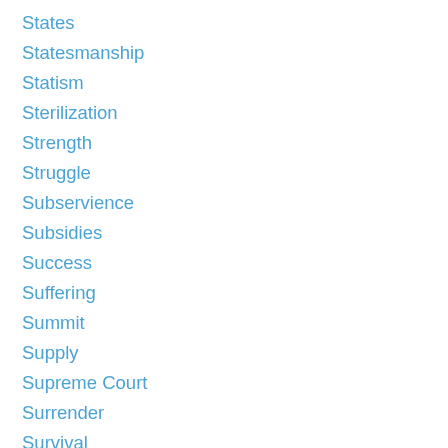States
Statesmanship
Statism
Sterilization
Strength
Struggle
Subservience
Subsidies
Success
Suffering
Summit
Supply
Supreme Court
Surrender
Survival
Tax
Taxation
Taxes
Tea Party
Technology
Temper